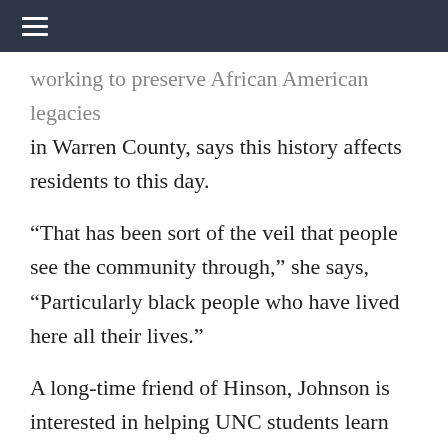≡
working to preserve African American legacies in Warren County, says this history affects residents to this day.
“That has been sort of the veil that people see the community through,” she says, “Particularly black people who have lived here all their lives.”
A long-time friend of Hinson, Johnson is interested in helping UNC students learn about these stories. Although she didn’t move to the area until the late ‘70s, she sees similarities in the history of her own hometown.